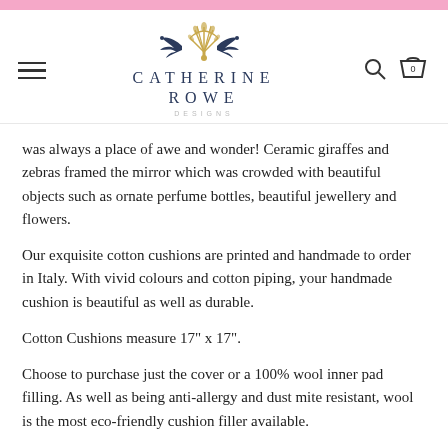[Figure (logo): Catherine Rowe Designs logo with two blue birds and a golden palm/fan motif, company name in navy letter-spaced serif, DESIGNS in small grey tracking below]
was always a place of awe and wonder! Ceramic giraffes and zebras framed the mirror which was crowded with beautiful objects such as ornate perfume bottles, beautiful jewellery and flowers.
Our exquisite cotton cushions are printed and handmade to order in Italy. With vivid colours and cotton piping, your handmade cushion is beautiful as well as durable.
Cotton Cushions measure 17" x 17".
Choose to purchase just the cover or a 100% wool inner pad filling. As well as being anti-allergy and dust mite resistant, wool is the most eco-friendly cushion filler available.